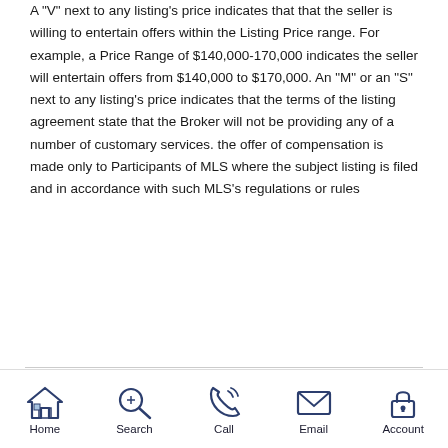A "V" next to any listing's price indicates that that the seller is willing to entertain offers within the Listing Price range. For example, a Price Range of $140,000-170,000 indicates the seller will entertain offers from $140,000 to $170,000. An "M" or an "S" next to any listing's price indicates that the terms of the listing agreement state that the Broker will not be providing any of a number of customary services. the offer of compensation is made only to Participants of MLS where the subject listing is filed and in accordance with such MLS's regulations or rules
Similar listings
Home | Search | Call | Email | Account